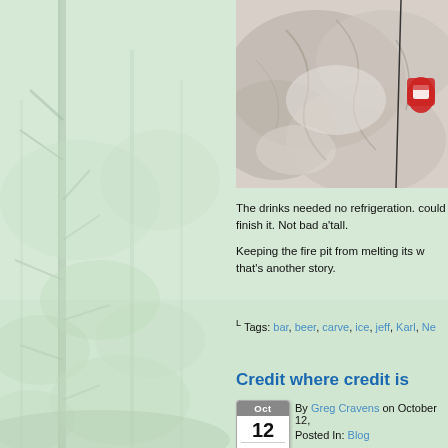[Figure (photo): A cave or rocky surface with ice, a red and white beverage can visible on the right side. Close-up photograph of rocky/icy terrain.]
The drinks needed no refrigeration. could finish it. Not bad a'tall.
Keeping the fire pit from melting its w that's another story.
Tags: bar, beer, carve, ice, jeff, Karl, Ne...
Credit where credit is
By Greg Cravens on October 12, Posted In: Blog